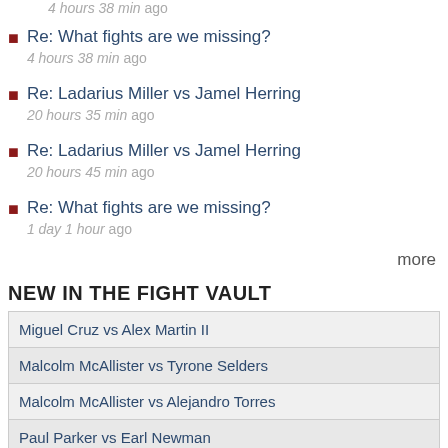4 hours 38 min ago (top truncated)
Re: What fights are we missing? — 4 hours 38 min ago
Re: Ladarius Miller vs Jamel Herring — 20 hours 35 min ago
Re: Ladarius Miller vs Jamel Herring — 20 hours 45 min ago
Re: What fights are we missing? — 1 day 1 hour ago
more
NEW IN THE FIGHT VAULT
| Miguel Cruz vs Alex Martin II |
| Malcolm McAllister vs Tyrone Selders |
| Malcolm McAllister vs Alejandro Torres |
| Paul Parker vs Earl Newman |
| Miguel Cruz vs Alex Martin |
| Lionell Thompson vs Earl Newman |